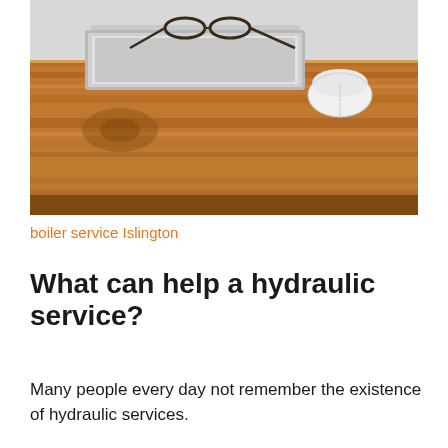[Figure (photo): A wooden desk with a laptop computer, eyeglasses resting on top, and an Apple Magic Mouse beside it, viewed at an angle from above.]
boiler service Islington
What can help a hydraulic service?
Many people every day not remember the existence of hydraulic services.